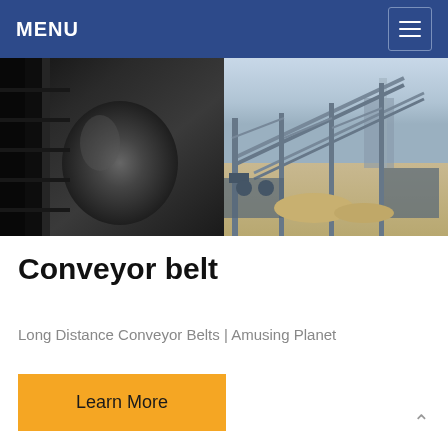MENU
[Figure (photo): Two side-by-side industrial photos: left shows close-up of a dark conveyor belt drum/pulley machinery in black and white tones; right shows an outdoor conveyor belt system with metal framework structures against a light sky background and sandy ground.]
Conveyor belt
Long Distance Conveyor Belts | Amusing Planet
Learn More